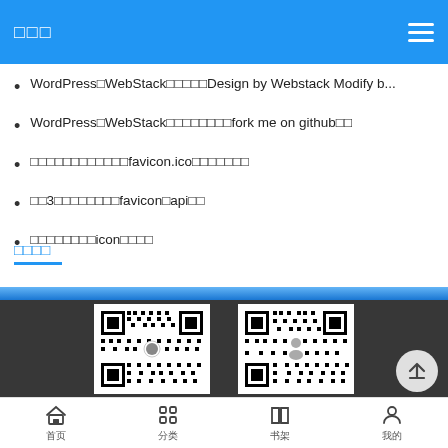□□□
WordPress□WebStack□□□□□Design by Webstack Modify b...
WordPress□WebStack□□□□□□□□fork me on github□□
□□□□□□□□□□□□favicon.ico□□□□□□□
□□3□□□□□□□□favicon□api□□
□□□□□□□□icon□□□□
□□□□
[Figure (photo): Two QR codes side by side on dark background]
首页  分类  书架  我的